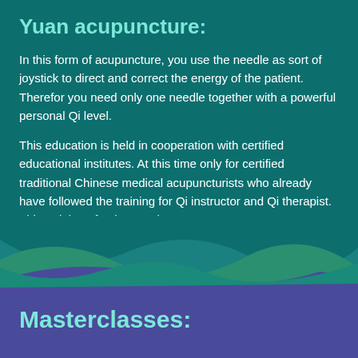Yuan acupuncture:
In this form of acupuncture, you use the needle as sort of joystick to direct and correct the energy of the patient. Therefor you need only one needle together with a powerful personal Qi level.
This education is held in cooperation with certified educational institutes. At this time only for certified traditional Chinese medical acupuncturists who already have followed the training for Qi instructor and Qi therapist. This training of 6 times 3 days.
Masterclasses: